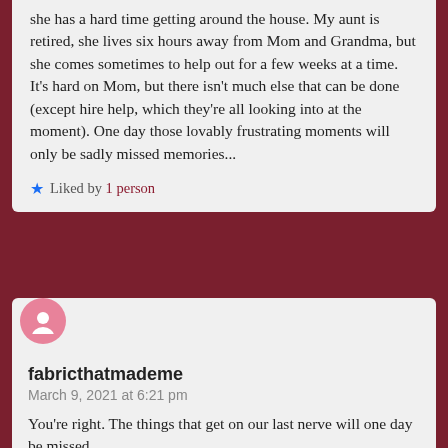she has a hard time getting around the house. My aunt is retired, she lives six hours away from Mom and Grandma, but she comes sometimes to help out for a few weeks at a time. It's hard on Mom, but there isn't much else that can be done (except hire help, which they're all looking into at the moment). One day those lovably frustrating moments will only be sadly missed memories...
Liked by 1 person
fabricthatmademe
March 9, 2021 at 6:21 pm
You're right. The things that get on our last nerve will one day be missed.
Liked by 1 person